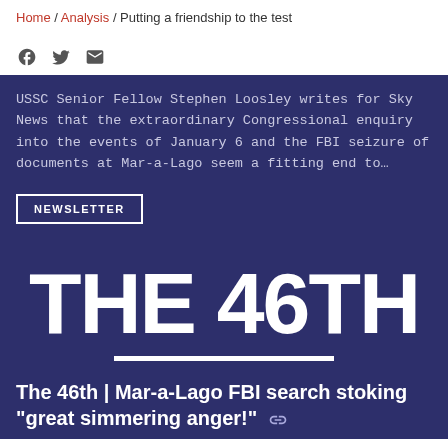Home / Analysis / Putting a friendship to the test
[Figure (infographic): Social share icons: Facebook, Twitter, Email]
USSC Senior Fellow Stephen Loosley writes for Sky News that the extraordinary Congressional enquiry into the events of January 6 and the FBI seizure of documents at Mar-a-Lago seem a fitting end to...
NEWSLETTER
THE 46TH
The 46th | Mar-a-Lago FBI search stoking "great simmering anger!"